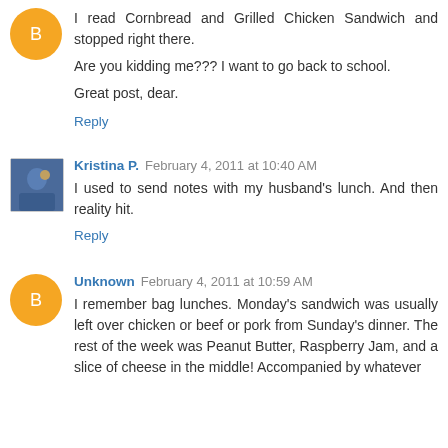I read Cornbread and Grilled Chicken Sandwich and stopped right there.

Are you kidding me??? I want to go back to school.

Great post, dear.
Reply
Kristina P.  February 4, 2011 at 10:40 AM
I used to send notes with my husband's lunch. And then reality hit.
Reply
Unknown  February 4, 2011 at 10:59 AM
I remember bag lunches. Monday's sandwich was usually left over chicken or beef or pork from Sunday's dinner. The rest of the week was Peanut Butter, Raspberry Jam, and a slice of cheese in the middle! Accompanied by whatever